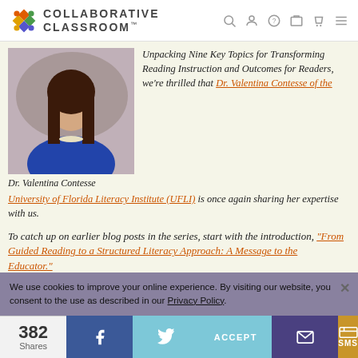COLLABORATIVE CLASSROOM
[Figure (photo): Portrait photo of Dr. Valentina Contesse, a woman with long dark hair wearing a blue top and white necklace]
Dr. Valentina Contesse
Unpacking Nine Key Topics for Transforming Reading Instruction and Outcomes for Readers, we're thrilled that Dr. Valentina Contesse of the University of Florida Literacy Institute (UFLI) is once again sharing her expertise with us.
To catch up on earlier blog posts in the series, start with the introduction, "From Guided Reading to a Structured Literacy Approach: A Message to the Educator."
We use cookies to improve your online experience. By visiting our website, you consent to the use as described in our Privacy Policy.
382 Shares
ACCEPT
SMS